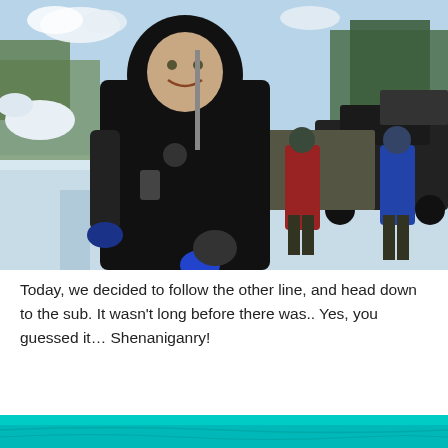[Figure (photo): Outdoor winter scene. A person wearing a black drysuit and neoprene hood smiles at the camera in the foreground. In the background, two other people in diving gear are preparing equipment next to a dark SUV/truck on a snowy road. Trees and snow-covered landscape visible in the background under a bright blue sky.]
Today, we decided to follow the other line, and head down to the sub. It wasn't long before there was.. Yes, you guessed it… Shenaniganry!
[Figure (photo): Partial view of a photo showing a teal/cyan underwater or water surface scene, cropped at the bottom of the page.]